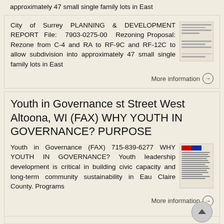approximately 47 small single family lots in East
City of Surrey PLANNING & DEVELOPMENT REPORT File: 7903-0275-00 Rezoning Proposal: Rezone from C-4 and RA to RF-9C and RF-12C to allow subdivision into approximately 47 small single family lots in East
[Figure (other): Thumbnail of a planning document with horizontal lines]
More information →
Youth in Governance st Street West Altoona, WI (FAX) WHY YOUTH IN GOVERNANCE? PURPOSE
Youth in Governance (FAX) 715-839-6277 WHY YOUTH IN GOVERNANCE? Youth leadership development is critical in building civic capacity and long-term community sustainability in Eau Claire County. Programs
[Figure (other): Thumbnail of a Youth in Governance document with red, blue color header and text lines]
More information →